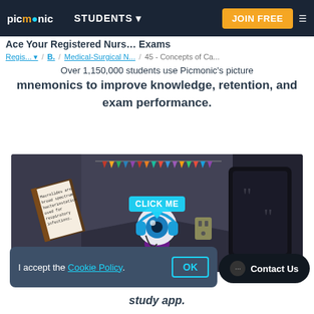picmonic | STUDENTS ▾ | JOIN FREE | ☰
Ace Your Registered Nurse… Exams
Regis... ▾ / B. / Medical-Surgical N... / 45 - Concepts of Ca...
Over 1,150,000 students use Picmonic's picture mnemonics to improve knowledge, retention, and exam performance.
[Figure (illustration): A 3D illustrated mnemonic scene inside a dimly lit room: an open book on the left with text 'Macrolides are broad spectrum bacteriostatics used for respiratory infections.', a cartoon eyeball character with headphones in the center with a 'CLICK ME' callout bubble above it, hanging pennant banners above, a large black tablet on the right, and a wall outlet. Dark gray background.]
I accept the Cookie Policy.
OK
Contact Us
study app.